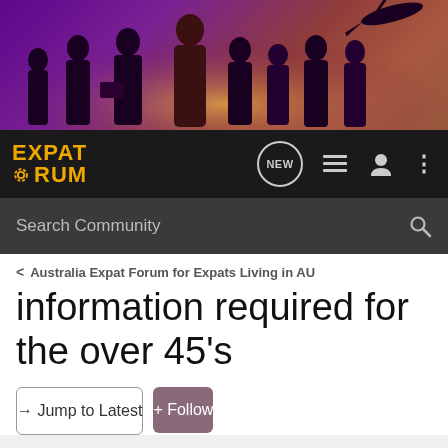[Figure (illustration): Banner image showing silhouettes of business people standing with a glowing sunset background and a world map overlay, plus an airplane silhouette. Purple and orange color scheme.]
[Figure (logo): Expat Forum logo in yellow/orange on dark background with gear icon in the word FORUM]
Search Community
< Australia Expat Forum for Expats Living in AU
information required for the over 45's
→ Jump to Latest
+ Follow
1 - 3 of 3 Posts